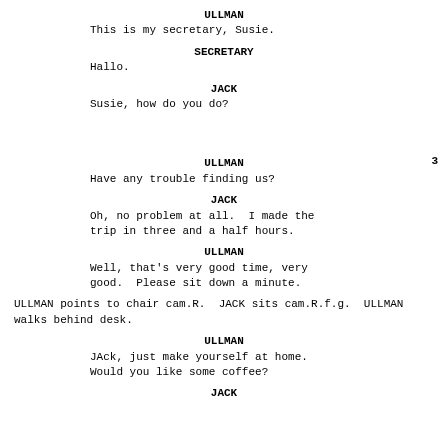ULLMAN
This is my secretary, Susie.
SECRETARY
Hallo.
JACK
Susie, how do you do?
3
ULLMAN
Have any trouble finding us?
JACK
Oh, no problem at all.  I made the
trip in three and a half hours.
ULLMAN
Well, that's very good time, very
good.  Please sit down a minute.
ULLMAN points to chair cam.R.  JACK sits cam.R.f.g.  ULLMAN
walks behind desk.
ULLMAN
JAck, just make yourself at home.
Would you like some coffee?
JACK